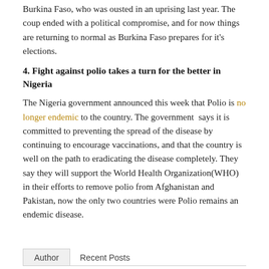Burkina Faso, who was ousted in an uprising last year. The coup ended with a political compromise, and for now things are returning to normal as Burkina Faso prepares for it's elections.
4. Fight against polio takes a turn for the better in Nigeria
The Nigeria government announced this week that Polio is no longer endemic to the country. The government says it is committed to preventing the spread of the disease by continuing to encourage vaccinations, and that the country is well on the path to eradicating the disease completely. They say they will support the World Health Organization(WHO) in their efforts to remove polio from Afghanistan and Pakistan, now the only two countries were Polio remains an endemic disease.
Author | Recent Posts
Raevyn Goates